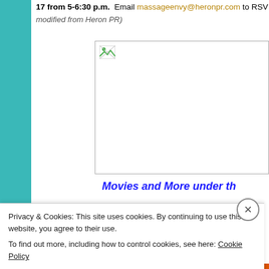17 from 5-6:30 p.m.  Email massageenvy@heronpr.com to RSV... modified from Heron PR)
[Figure (photo): Broken/missing image placeholder with small broken image icon in top-left corner]
Movies and More under th...
Privacy & Cookies: This site uses cookies. By continuing to use this website, you agree to their use. To find out more, including how to control cookies, see here: Cookie Policy